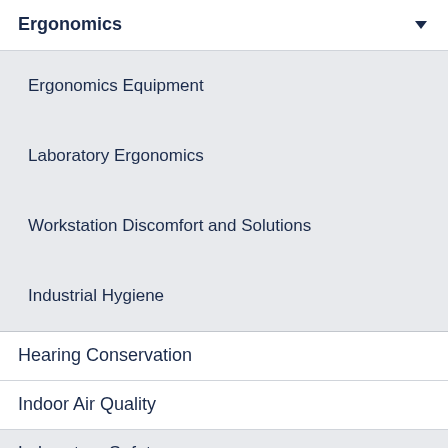Ergonomics
Ergonomics Equipment
Laboratory Ergonomics
Workstation Discomfort and Solutions
Industrial Hygiene
Hearing Conservation
Indoor Air Quality
Laboratory Safety
Mercury Thermometer Exchange
Occupational Health Services
Personal Protective Equipment (PPE)